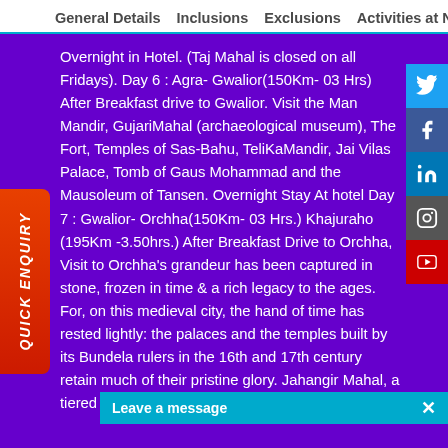General Details   Inclusions   Exclusions   Activities at New
Overnight in Hotel. (Taj Mahal is closed on all Fridays). Day 6 : Agra- Gwalior(150Km- 03 Hrs) After Breakfast drive to Gwalior. Visit the Man Mandir, GujariMahal (archaeological museum), The Fort, Temples of Sas-Bahu, TeliKaMandir, Jai Vilas Palace, Tomb of Gaus Mohammad and the Mausoleum of Tansen. Overnight Stay At hotel Day 7 : Gwalior- Orchha(150Km- 03 Hrs.) Khajuraho (195Km -3.50hrs.) After Breakfast Drive to Orchha, Visit to Orchha’s grandeur has been captured in stone, frozen in time & a rich legacy to the ages. For, on this medieval city, the hand of time has rested lightly: the palaces and the temples built by its Bundela rulers in the 16th and 17th century retain much of their pristine glory. Jahangir Mahal, a tiered palace crowned by graceful chhatris has a s
QUICK ENQUIRY
Leave a message